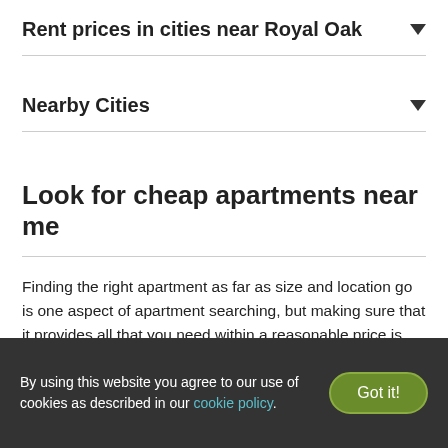Rent prices in cities near Royal Oak
Nearby Cities
Look for cheap apartments near me
Finding the right apartment as far as size and location go is one aspect of apartment searching, but making sure that it provides all that you need within a reasonable price is another. On RentCafe, you can search for cheap apartments near you and ensure that you find one that suites your needs. Worried the neighborhood or city you are looking to move to is known to have higher rents? You can browse our listings and find the cheap apartments in any location, whether you are looking at a specific neighborhood, ZIP code, or city.
By using this website you agree to our use of cookies as described in our cookie policy.